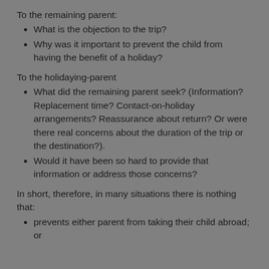To the remaining parent:
What is the objection to the trip?
Why was it important to prevent the child from having the benefit of a holiday?
To the holidaying-parent
What did the remaining parent seek? (Information? Replacement time? Contact-on-holiday arrangements? Reassurance about return? Or were there real concerns about the duration of the trip or the destination?).
Would it have been so hard to provide that information or address those concerns?
In short, therefore, in many situations there is nothing that:
prevents either parent from taking their child abroad; or